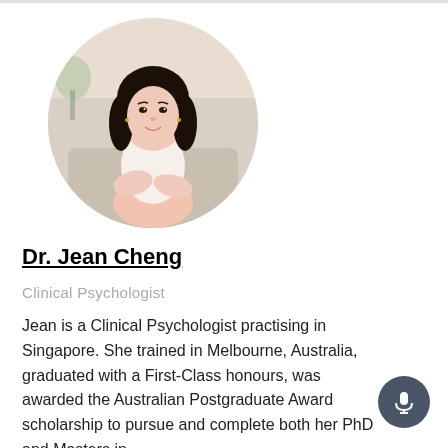[Figure (photo): Circular profile photo of Dr. Jean Cheng, a young Asian woman with long dark hair, wearing a white top, seated and smiling, with a light beige background.]
Dr. Jean Cheng
Clinical Psychologist
Jean is a Clinical Psychologist practising in Singapore. She trained in Melbourne, Australia, graduated with a First-Class honours, was awarded the Australian Postgraduate Award scholarship to pursue and complete both her PhD and Masters in